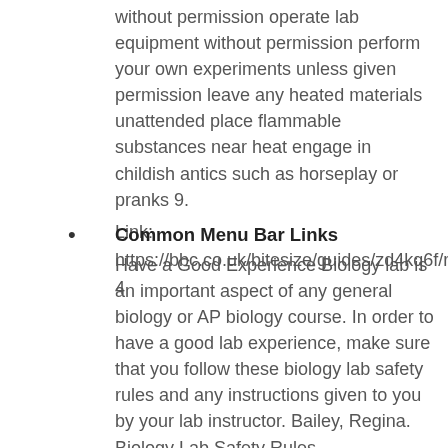without permission operate lab equipment without permission perform your own experiments unless given permission leave any heated materials unattended place flammable substances near heat engage in childish antics such as horseplay or pranks 9.
Link:
https://bbc.co.uk/bitesize/guides/zd4kq6f/revision/4
Common Menu Bar Links
Have a Good Experience Biology lab is an important aspect of any general biology or AP biology course. In order to have a good lab experience, make sure that you follow these biology lab safety rules and any instructions given to you by your lab instructor. Bailey, Regina. Biology Lab Safety Rules.
Link:
https://academic.udayton.edu/gregelvers/psy216/pdfs/216Exam1Spring2013Answers.pdf